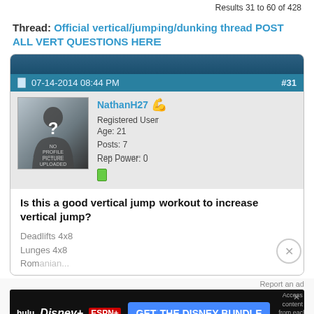Results 31 to 60 of 428
Thread: Official vertical/jumping/dunking thread POST ALL VERT QUESTIONS HERE
07-14-2014 08:44 PM
#31
NathanH27
Registered User
Age: 21
Posts: 7
Rep Power: 0
Is this a good vertical jump workout to increase vertical jump?
Deadlifts 4x8
Lunges 4x8
Romanian...
Hamstring curls 4x8
Box jumps 5x8
[Figure (screenshot): Disney Bundle advertisement banner showing Hulu, Disney+, and ESPN+ logos with 'GET THE DISNEY BUNDLE' call to action]
Report an ad